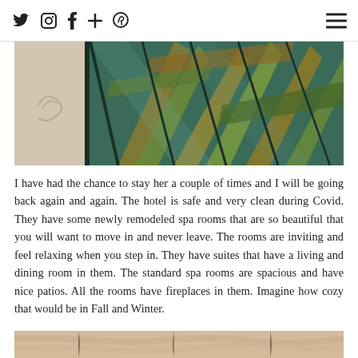Social media icons: Twitter, Instagram, Facebook, Plus, Pinterest; Hamburger menu
[Figure (photo): Hotel interior/exterior photo showing decorative tile floor, glass panels, and tropical palm leaves with green and golden tones]
I have had the chance to stay her a couple of times and I will be going back again and again. The hotel is safe and very clean during Covid. They have some newly remodeled spa rooms that are so beautiful that you will want to move in and never leave. The rooms are inviting and feel relaxing when you step in. They have suites that have a living and dining room in them. The standard spa rooms are spacious and have nice patios. All the rooms have fireplaces in them. Imagine how cozy that would be in Fall and Winter.
[Figure (photo): Partial photo at bottom showing a warm-toned stone or marble surface in beige and sandy tones]